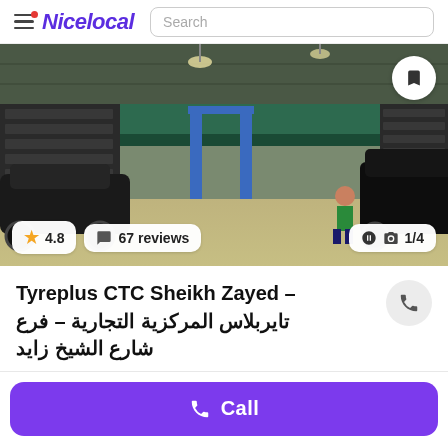Nicelocal | Search
[Figure (photo): Interior of a tire and auto service garage showing multiple cars being serviced, tire racks, service lifts, and a UAE flag hanging in the background. Rating badge: 4.8 stars, 67 reviews. Photo counter: 1/4.]
Tyreplus CTC Sheikh Zayed – تايربلاس المركزية التجارية – فرع شارع الشيخ زايد
Call